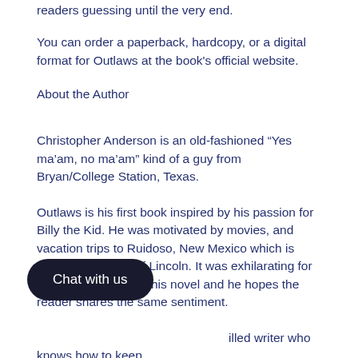readers guessing until the very end.
You can order a paperback, hardcopy, or a digital format for Outlaws at the book's official website.
About the Author
Christopher Anderson is an old-fashioned “Yes ma’am, no ma’am” kind of a guy from Bryan/College Station, Texas.
Outlaws is his first book inspired by his passion for Billy the Kid. He was motivated by movies, and vacation trips to Ruidoso, New Mexico which is near the old town of Lincoln. It was exhilarating for Christopher to write this novel and he hopes the reader shares the same sentiment.
illed writer who knows how to keep ed. Outlaws is yet another example of his ability to craft a page-turner that will leave readers wanting more.